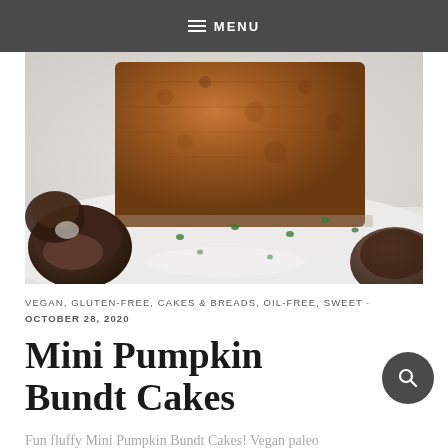≡ MENU
[Figure (photo): Close-up photo of a pumpkin bundt cake loaf on a white surface with small chocolate candy pieces scattered around it. The cake appears golden-brown and moist. Several dark chocolate bon-bon style chocolates are visible in the foreground and background, slightly out of focus.]
VEGAN, GLUTEN-FREE, CAKES & BREADS, OIL-FREE, SWEET · OCTOBER 28, 2020
Mini Pumpkin Bundt Cakes
Fun fluffy Mini Pumpkin Bundt Cakes! Vegan paleo